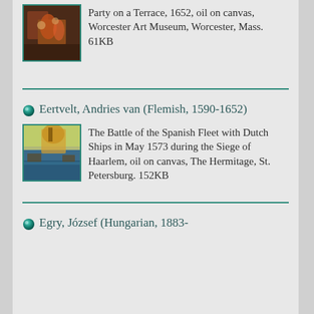[Figure (illustration): Thumbnail painting - Party on a Terrace, 1652, oil on canvas, Worcester Art Museum]
Party on a Terrace, 1652, oil on canvas, Worcester Art Museum, Worcester, Mass. 61KB
Eertvelt, Andries van (Flemish, 1590-1652)
[Figure (illustration): Thumbnail painting - The Battle of the Spanish Fleet with Dutch Ships in May 1573 during the Siege of Haarlem]
The Battle of the Spanish Fleet with Dutch Ships in May 1573 during the Siege of Haarlem, oil on canvas, The Hermitage, St. Petersburg. 152KB
Egry, József (Hungarian, 1883-